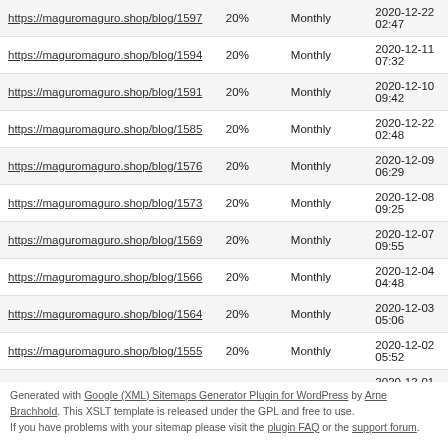| URL | Priority | Change Frequency | Last Modified |
| --- | --- | --- | --- |
| https://maguromaguro.shop/blog/1597 | 20% | Monthly | 2020-12-22 02:47 |
| https://maguromaguro.shop/blog/1594 | 20% | Monthly | 2020-12-11 07:32 |
| https://maguromaguro.shop/blog/1591 | 20% | Monthly | 2020-12-10 09:42 |
| https://maguromaguro.shop/blog/1585 | 20% | Monthly | 2020-12-22 02:48 |
| https://maguromaguro.shop/blog/1576 | 20% | Monthly | 2020-12-09 06:29 |
| https://maguromaguro.shop/blog/1573 | 20% | Monthly | 2020-12-08 09:25 |
| https://maguromaguro.shop/blog/1569 | 20% | Monthly | 2020-12-07 09:55 |
| https://maguromaguro.shop/blog/1566 | 20% | Monthly | 2020-12-04 04:48 |
| https://maguromaguro.shop/blog/1564 | 20% | Monthly | 2020-12-03 05:06 |
| https://maguromaguro.shop/blog/1555 | 20% | Monthly | 2020-12-02 05:52 |
| https://maguromaguro.shop/blog/1552 | 20% | Monthly | 2020-12-01 04:19 |
Generated with Google (XML) Sitemaps Generator Plugin for WordPress by Arne Brachhold. This XSLT template is released under the GPL and free to use. If you have problems with your sitemap please visit the plugin FAQ or the support forum.